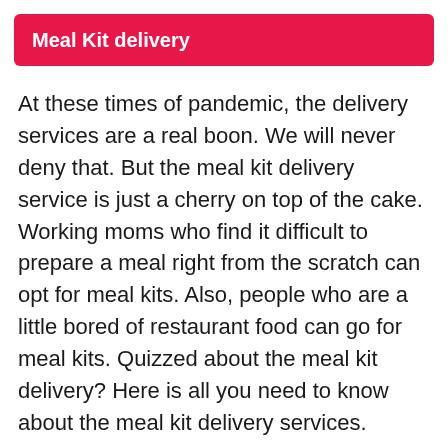Meal Kit delivery
At these times of pandemic, the delivery services are a real boon. We will never deny that. But the meal kit delivery service is just a cherry on top of the cake. Working moms who find it difficult to prepare a meal right from the scratch can opt for meal kits. Also, people who are a little bored of restaurant food can go for meal kits. Quizzed about the meal kit delivery? Here is all you need to know about the meal kit delivery services.
And here you can see additional text...